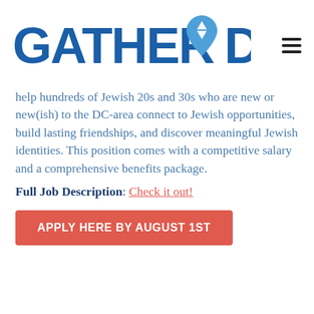[Figure (logo): GatherDC logo with blue text 'GATHER DC' and a blue map-pin icon containing a Star of David]
help hundreds of Jewish 20s and 30s who are new or new(ish) to the DC-area connect to Jewish opportunities, build lasting friendships, and discover meaningful Jewish identities. This position comes with a competitive salary and a comprehensive benefits package.
Full Job Description: Check it out!
APPLY HERE BY AUGUST 1ST